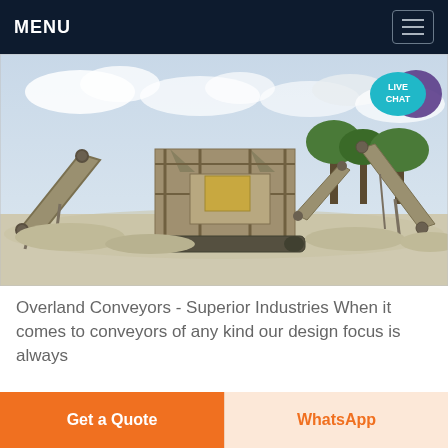MENU
[Figure (photo): Industrial overland conveyor system with multiple inclined belt conveyors and a central crushing/screening plant on a sandy site with trees in background and cloudy sky]
Overland Conveyors - Superior Industries When it comes to conveyors of any kind our design focus is always
Get a Quote
WhatsApp